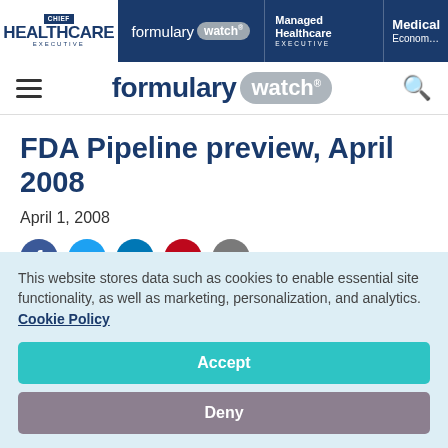HEALTHCARE EXECUTIVE | formulary watch® | Managed Healthcare EXECUTIVE | Medical Economics
[Figure (logo): Formulary Watch logo in main navigation bar with hamburger menu and search icon]
FDA Pipeline preview, April 2008
April 1, 2008
[Figure (other): Social media sharing icons: Facebook, Twitter, LinkedIn, Pinterest, Email]
This website stores data such as cookies to enable essential site functionality, as well as marketing, personalization, and analytics. Cookie Policy
Accept
Deny